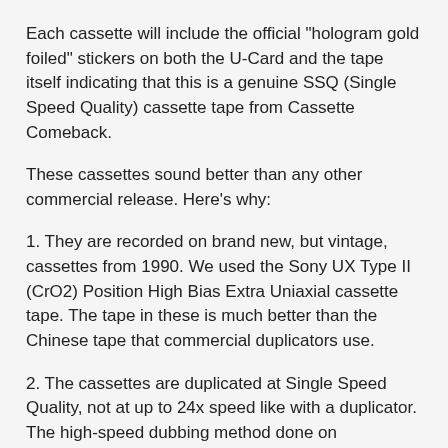Each cassette will include the official "hologram gold foiled" stickers on both the U-Card and the tape itself indicating that this is a genuine SSQ (Single Speed Quality) cassette tape from Cassette Comeback.
These cassettes sound better than any other commercial release. Here's why:
1. They are recorded on brand new, but vintage, cassettes from 1990. We used the Sony UX Type II (CrO2) Position High Bias Extra Uniaxial cassette tape. The tape in these is much better than the Chinese tape that commercial duplicators use.
2. The cassettes are duplicated at Single Speed Quality, not at up to 24x speed like with a duplicator. The high-speed dubbing method done on commercial releases might save time but it does have negative consequences on sound quality. These SSQ tapes, hands down, sound better than commercial releases.